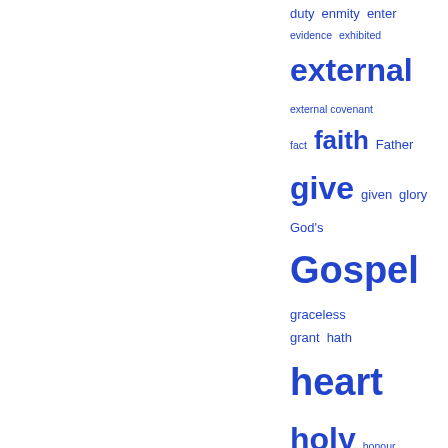[Figure (other): Word cloud in blue showing theological/religious index terms of varying sizes indicating frequency, including: duty, enmity, enter, evidence, exhibited, external, external covenant, fact, faith, Father, give, given, glory, God's, Gospel, graceless, grant, hath, heart, holy, honour, inconsistent, infinite, Jesus Christ, join, judge, justified, kind, least, light, live, look, Lord, Lord's, lying, manner, means, mind, minister, moral, nature, never, obedience, obliged, offer, perfect, persons, practice, pray, present, principles, profession, promise]